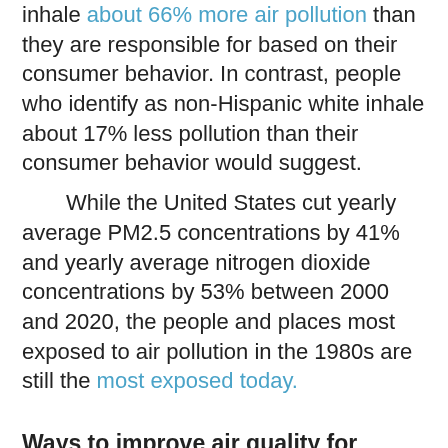inhale about 66% more air pollution than they are responsible for based on their consumer behavior. In contrast, people who identify as non-Hispanic white inhale about 17% less pollution than their consumer behavior would suggest.
While the United States cut yearly average PM2.5 concentrations by 41% and yearly average nitrogen dioxide concentrations by 53% between 2000 and 2020, the people and places most exposed to air pollution in the 1980s are still the most exposed today.
Ways to improve air quality for everyone
Countries can improve their air quality by moving to cleaner sources of energy and cutting out fossil fuels, which are a major source of PM2.5. Electric vehicles can help reduce traffic-related air pollution.